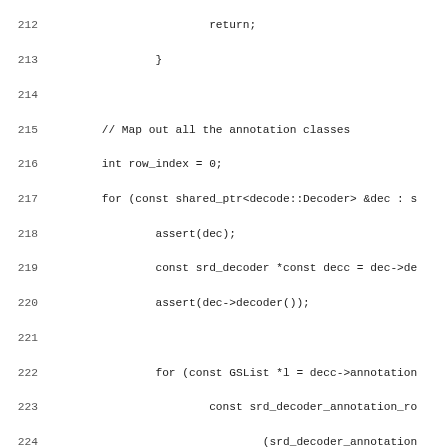Source code listing lines 212-243 showing C++ code for mapping annotation classes and freeing logic data